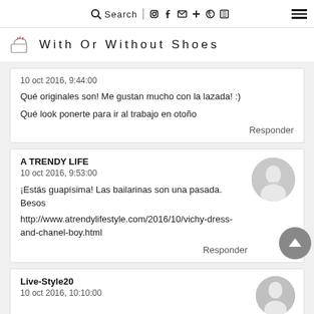Search  [icons: instagram, facebook, twitter, plus, pinterest, save] [hamburger menu]
With Or Without Shoes
10 oct 2016, 9:44:00
Qué originales son! Me gustan mucho con la lazada! :)
Qué look ponerte para ir al trabajo en otoño
Responder
A TRENDY LIFE
10 oct 2016, 9:53:00
¡Estás guapísima! Las bailarinas son una pasada. Besos
http://www.atrendylifestyle.com/2016/10/vichy-dress-and-chanel-boy.html
Responder
Live-Style20
10 oct 2016, 10:10:00